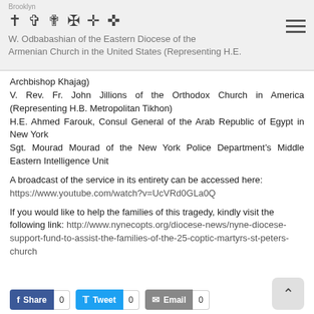Brooklyn
W... Odbabashian of the Eastern Diocese of the Armenian Church in the United States (Representing H.E. Archbishop Khajag)
V. Rev. Fr. John Jillions of the Orthodox Church in America (Representing H.B. Metropolitan Tikhon)
H.E. Ahmed Farouk, Consul General of the Arab Republic of Egypt in New York
Sgt. Mourad Mourad of the New York Police Department’s Middle Eastern Intelligence Unit
A broadcast of the service in its entirety can be accessed here: https://www.youtube.com/watch?v=UcVRd0GLa0Q
If you would like to help the families of this tragedy, kindly visit the following link: http://www.nynecopts.org/diocese-news/nyne-diocese-support-fund-to-assist-the-families-of-the-25-coptic-martyrs-st-peters-church